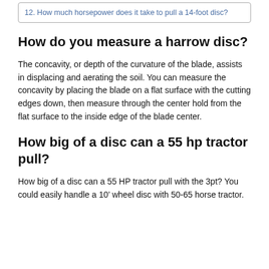12. How much horsepower does it take to pull a 14-foot disc?
How do you measure a harrow disc?
The concavity, or depth of the curvature of the blade, assists in displacing and aerating the soil. You can measure the concavity by placing the blade on a flat surface with the cutting edges down, then measure through the center hold from the flat surface to the inside edge of the blade center.
How big of a disc can a 55 hp tractor pull?
How big of a disc can a 55 HP tractor pull with the 3pt? You could easily handle a 10’ wheel disc with 50-65 horse tractor.